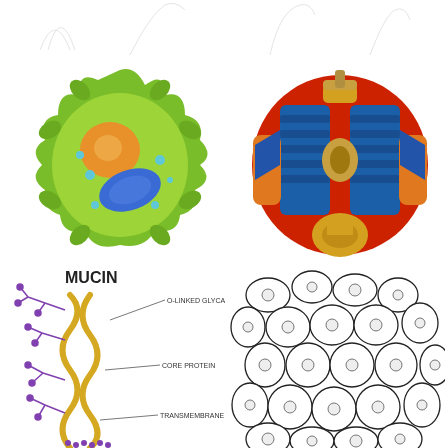[Figure (illustration): Four faint curved line sketches at the top of the page]
[Figure (illustration): Colorful illustration of a plant cell with green cell body, orange nucleus, blue chloroplast, and small blue dots]
[Figure (illustration): Colorful illustration of a V-twin engine cross-section with red, blue, gold, and orange parts]
[Figure (schematic): Mucin protein diagram labeled with O-LINKED GLYCANS, CORE PROTEIN, and TRANSMEMBRANE REGION, showing a twisted protein chain with purple sugar branches on a yellow backbone]
[Figure (illustration): Black and white illustration of clustered oval/round cells packed together, each with a small circle inside]